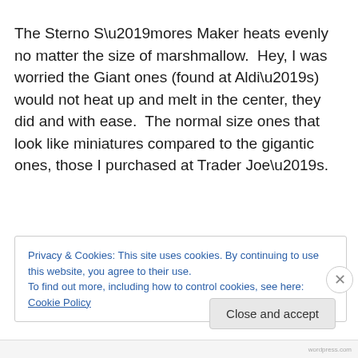The Sterno S’mores Maker heats evenly no matter the size of marshmallow.  Hey, I was worried the Giant ones (found at Aldi’s) would not heat up and melt in the center, they did and with ease.  The normal size ones that look like miniatures compared to the gigantic ones, those I purchased at Trader Joe’s.
Privacy & Cookies: This site uses cookies. By continuing to use this website, you agree to their use.
To find out more, including how to control cookies, see here: Cookie Policy
Close and accept